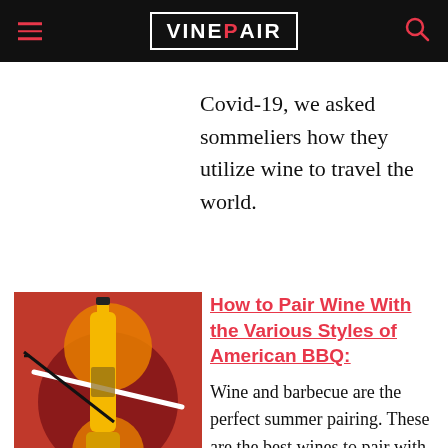VinePair
Covid-19, we asked sommeliers how they utilize wine to travel the world.
[Figure (illustration): Illustration of wine bottles on a red background with yellow circular designs]
How to Pair Wine With the Various Styles of American BBQ:
Wine and barbecue are the perfect summer pairing. These are the best wines to pair with BBQ this July 4.